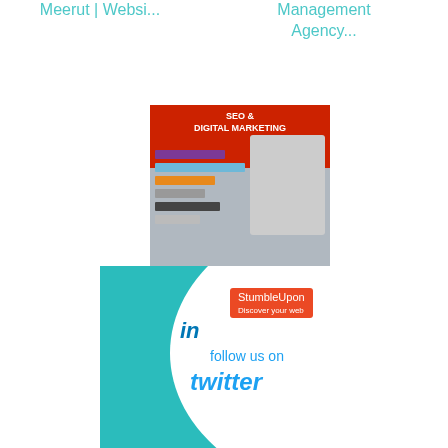Meerut | Websi...
Management Agency...
[Figure (photo): SEO & Digital Marketing promotional image with colored bars and phone number: Media Solution | +91-82668833...]
Digital Marketing Course Meerut, Ca...
[Figure (photo): Social media logos banner on teal background showing Google+, YouTube, StumbleUpon, LinkedIn, Twitter, Foursquare, Reddit icons in a circular arrangement with 'follow us on twitter' text]